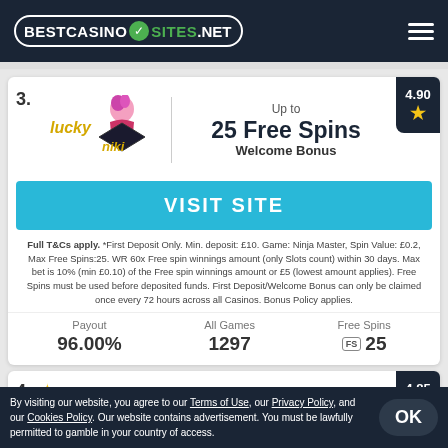BestCasinoSites.net
3. Lucky Niki — Up to 25 Free Spins Welcome Bonus — Rating 4.90
VISIT SITE
Full T&Cs apply. *First Deposit Only. Min. deposit: £10. Game: Ninja Master, Spin Value: £0.2, Max Free Spins:25. WR 60x Free spin winnings amount (only Slots count) within 30 days. Max bet is 10% (min £0.10) of the Free spin winnings amount or £5 (lowest amount applies). Free Spins must be used before deposited funds. First Deposit/Welcome Bonus can only be claimed once every 72 hours across all Casinos. Bonus Policy applies.
Payout 96.00% | All Games 1297 | Free Spins 25
4. Energy Casino — Coming Soon — Rating 4.85
By visiting our website, you agree to our Terms of Use, our Privacy Policy, and our Cookies Policy. Our website contains advertisement. You must be lawfully permitted to gamble in your country of access.